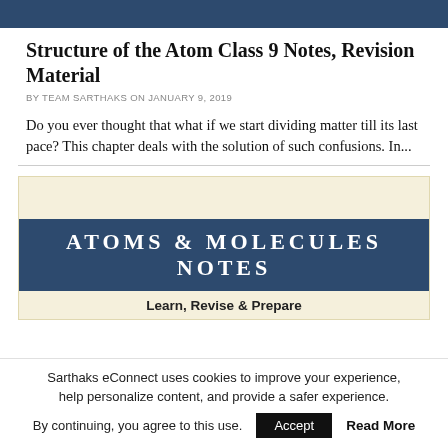Structure of the Atom Class 9 Notes, Revision Material
BY TEAM SARTHAKS ON JANUARY 9, 2019
Do you ever thought that what if we start dividing matter till its last pace? This chapter deals with the solution of such confusions. In...
[Figure (illustration): Atoms & Molecules Notes banner with blue header bar and cream background. Text reads 'ATOMS & MOLECULES NOTES' in large white uppercase letters on blue background, with 'Learn, Revise & Prepare' tagline below on cream background.]
Sarthaks eConnect uses cookies to improve your experience, help personalize content, and provide a safer experience. By continuing, you agree to this use. Accept Read More